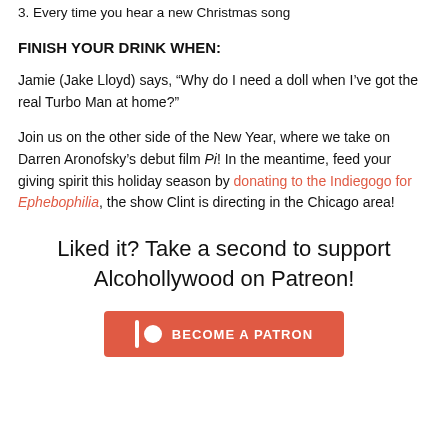3. Every time you hear a new Christmas song
FINISH YOUR DRINK WHEN:
Jamie (Jake Lloyd) says, “Why do I need a doll when I’ve got the real Turbo Man at home?”
Join us on the other side of the New Year, where we take on Darren Aronofsky’s debut film Pi! In the meantime, feed your giving spirit this holiday season by donating to the Indiegogo for Ephebophilia, the show Clint is directing in the Chicago area!
Liked it? Take a second to support Alcohollywood on Patreon!
[Figure (other): Patreon button: red rectangle with Patreon logo icon and text BECOME A PATRON]